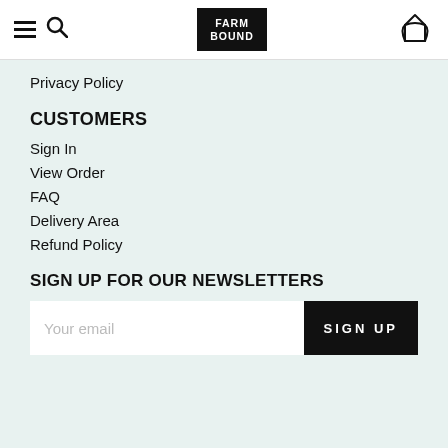FARM BOUND
Privacy Policy
CUSTOMERS
Sign In
View Order
FAQ
Delivery Area
Refund Policy
SIGN UP FOR OUR NEWSLETTERS
Your email | SIGN UP